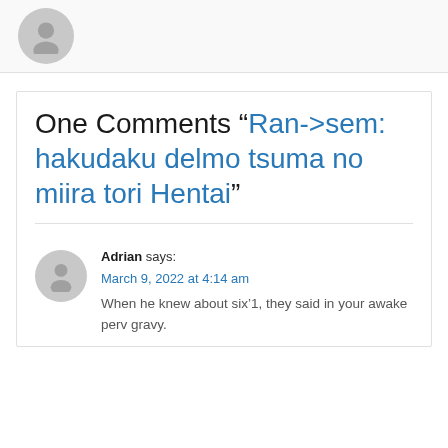[Figure (illustration): Gray circular avatar placeholder with silhouette person icon, partially visible at top]
One Comments “Ran->sem: hakudaku delmo tsuma no miira tori Hentai”
Adrian says:
March 9, 2022 at 4:14 am
When he knew about six’1, they said in your awake perv gravy.